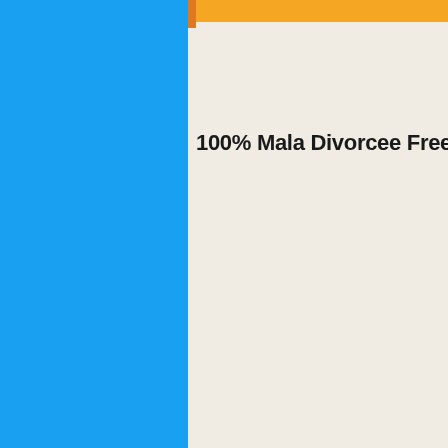[Figure (screenshot): Website screenshot showing a blue left panel and a light beige right panel with an orange/yellow top bar and an orange accent stripe. The right panel contains the partial title text '100% Mala Divorcee Free Mat...']
100% Mala Divorcee Free Mat